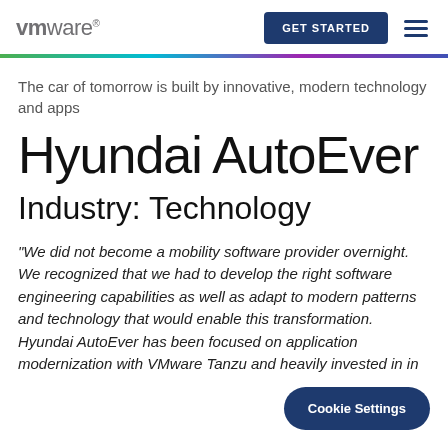vmware® | GET STARTED
The car of tomorrow is built by innovative, modern technology and apps
Hyundai AutoEver
Industry: Technology
“We did not become a mobility software provider overnight. We recognized that we had to develop the right software engineering capabilities as well as adapt to modern patterns and technology that would enable this transformation. Hyundai AutoEver has been focused on application modernization with VMware Tanzu and heavily invested in in